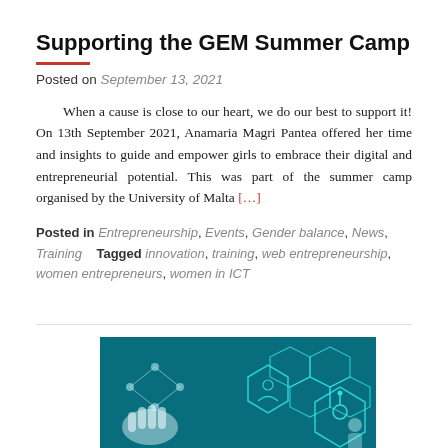Supporting the GEM Summer Camp
Posted on September 13, 2021
When a cause is close to our heart, we do our best to support it! On 13th September 2021, Anamaria Magri Pantea offered her time and insights to guide and empower girls to embrace their digital and entrepreneurial potential. This was part of the summer camp organised by the University of Malta [...]
Posted in Entrepreneurship, Events, Gender balance, News, Training   Tagged innovation, training, web entrepreneurship, women entrepreneurs, women in ICT
[Figure (photo): Teal/blue digital health technology image showing hexagonal molecular/medical icons and a stethoscope motif with glowing cyan lines on dark teal background]